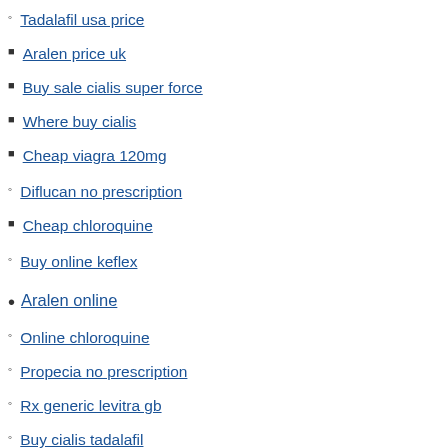Tadalafil usa price
Aralen price uk
Buy sale cialis super force
Where buy cialis
Cheap viagra 120mg
Diflucan no prescription
Cheap chloroquine
Buy online keflex
Aralen online
Online chloroquine
Propecia no prescription
Rx generic levitra gb
Buy cialis tadalafil
Viagra for sale